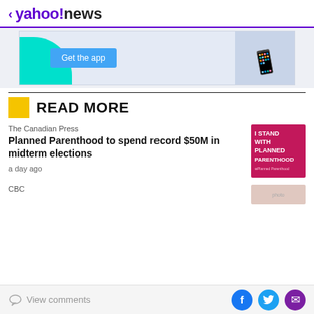< yahoo!news
[Figure (screenshot): Advertisement banner showing 'Get the app' button with cyan design element and hand holding phone]
READ MORE
The Canadian Press
Planned Parenthood to spend record $50M in midterm elections
[Figure (photo): Pink sign reading 'I STAND WITH PLANNED PARENTHOOD' with Planned Parenthood logo]
a day ago
CBC
View comments | Facebook | Twitter | Email